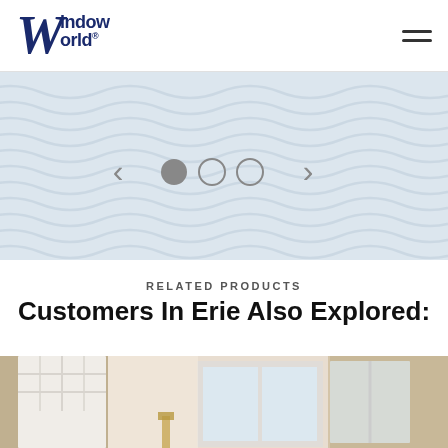Window World
[Figure (illustration): Wavy banner/carousel area with navigation arrows and dots (1 filled, 2 empty)]
RELATED PRODUCTS
Customers In Erie Also Explored:
[Figure (photo): Interior photo showing white French doors and windows with light coming through, warm tan walls]